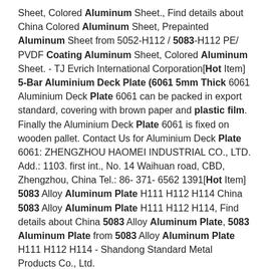Sheet, Colored Aluminum Sheet., Find details about China Colored Aluminum Sheet, Prepainted Aluminum Sheet from 5052-H112 / 5083-H112 PE/ PVDF Coating Aluminum Sheet, Colored Aluminum Sheet. - TJ Evrich International Corporation[Hot Item] 5-Bar Aluminium Deck Plate (6061 5mm Thick 6061 Aluminium Deck Plate 6061 can be packed in export standard, covering with brown paper and plastic film. Finally the Aluminium Deck Plate 6061 is fixed on wooden pallet. Contact Us for Aluminium Deck Plate 6061: ZHENGZHOU HAOMEI INDUSTRIAL CO., LTD. Add.: 1103. first int., No. 14 Waihuan road, CBD, Zhengzhou, China Tel.: 86- 371- 6562 1391[Hot Item] 5083 Alloy Aluminum Plate H111 H112 H114 China 5083 Alloy Aluminum Plate H111 H112 H114, Find details about China 5083 Alloy Aluminum Plate, 5083 Aluminum Plate from 5083 Alloy Aluminum Plate H111 H112 H114 - Shandong Standard Metal Products Co., Ltd.
[Hot Item] 5083/5182 DC Grade Aluminium plate for truck board
Aluminium Coil: About us: Haomei Aluminum is located in famous aluminum capital of Zhengzhou, Henan province.We are